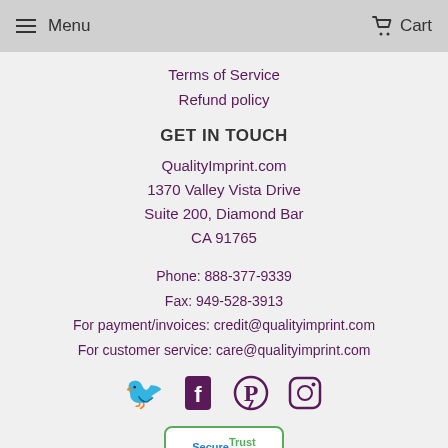Menu   Cart
Terms of Service
Refund policy
GET IN TOUCH
QualityImprint.com
1370 Valley Vista Drive
Suite 200, Diamond Bar
CA 91765
Phone: 888-377-9339
Fax: 949-528-3913
For payment/invoices: credit@qualityimprint.com
For customer service: care@qualityimprint.com
[Figure (infographic): Social media icons: Twitter, Facebook, Pinterest, Instagram in purple]
[Figure (logo): SecureTrust Trusted Commerce - Click to Validate badge]
Message